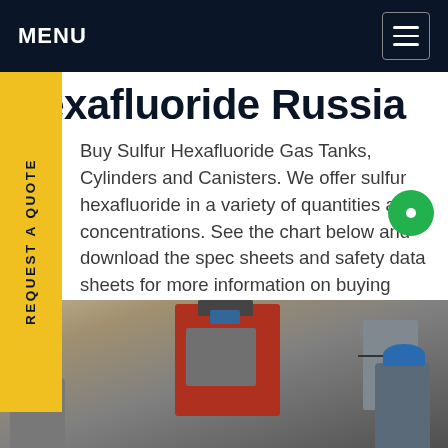MENU
hexafluoride Russia
Buy Sulfur Hexafluoride Gas Tanks, Cylinders and Canisters. We offer sulfur hexafluoride in a variety of quantities and concentrations. See the chart below and download the spec sheets and safety data sheets for more information on buying sulfur hexafluoride canisters, tanks and cylinders from us. We develop the right grades for the right Get price
[Figure (photo): Industrial facility photo showing workers in hard hats next to large red machinery/equipment in a factory or warehouse setting.]